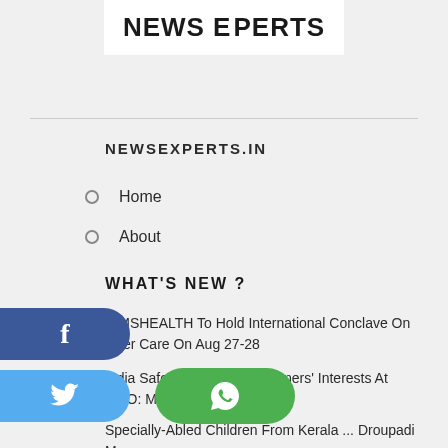[Figure (logo): NEWS EXPERTS logo with orange arrow/chevron between EX and PERTS on white background]
NEWSEXPERTS.IN
Home
About
WHAT'S NEW ?
KIMSHEALTH To Hold International Conclave On Liver Care On Aug 27-28
India Safeguarded Aqua Farmers' Interests At WTO: Minister Goyal
Specially-Abled Children From Kerala ... Droupadi Murmu